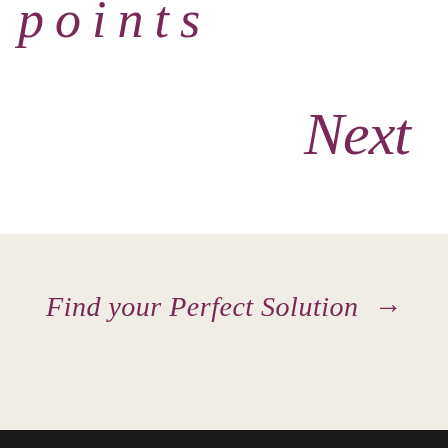points
Next
Find your Perfect Solution →